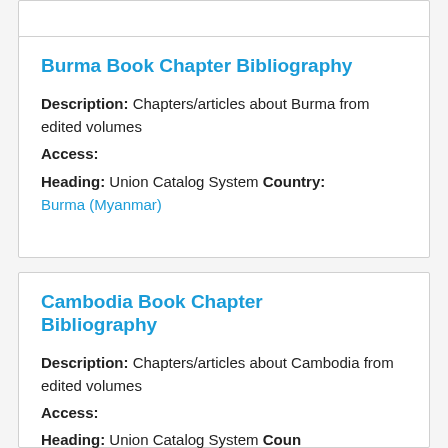Burma Book Chapter Bibliography
Description: Chapters/articles about Burma from edited volumes
Access:
Heading: Union Catalog System Country: Burma (Myanmar)
Cambodia Book Chapter Bibliography
Description: Chapters/articles about Cambodia from edited volumes
Access:
Heading: Union Catalog System Country: